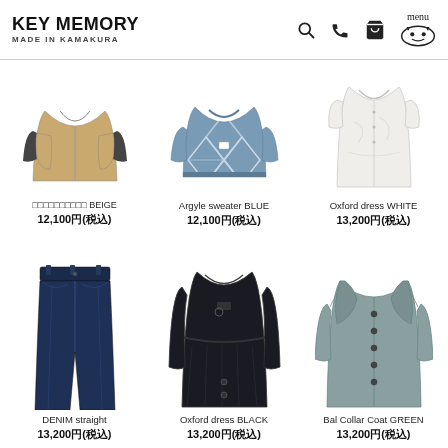KEY MEMORY MADE IN KAMAKURA
[Figure (photo): Beige jacket with dark shoulder panels]
□□□□□□□□□□ BEIGE
12,100円(税込)
[Figure (photo): Argyle sweater in blue pattern]
Argyle sweater BLUE
12,100円(税込)
[Figure (photo): Oxford dress in white]
Oxford dress WHITE
13,200円(税込)
[Figure (photo): Dark denim straight jeans]
DENIM straight
13,200円(税込)
[Figure (photo): Oxford dress in black]
Oxford dress BLACK
13,200円(税込)
[Figure (photo): Bal Collar Coat in green/grey]
Bal Collar Coat GREEN
13,200円(税込)